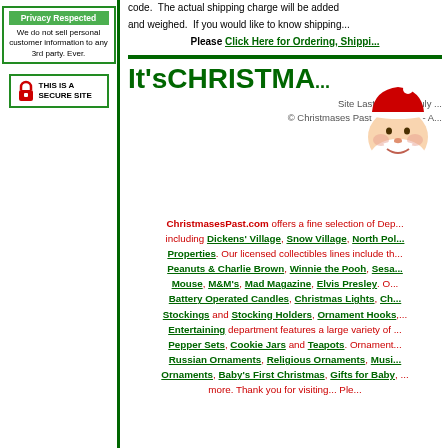[Figure (infographic): Privacy Respected badge with green header and text: We do not sell personal customer information to any 3rd party. Ever.]
[Figure (infographic): This is a Secure Site badge with lock icon]
code. The actual shipping charge will be added and weighed. If you would like to know shipping...
Please Click Here for Ordering, Shippi...
It'sCHRISTMA...
Site Last Revised July ... © Christmases Past 2001-2008 - A...
[Figure (illustration): Santa Claus illustration - head with red hat and white beard]
ChristmasesPast.com offers a fine selection of Dep... including Dickens' Village, Snow Village, North Pol... Properties. Our licensed collectibles lines include th... Peanuts & Charlie Brown, Winnie the Pooh, Sesa... Mouse, M&M's, Mad Magazine, Elvis Presley. O... Battery Operated Candles, Christmas Lights, Ch... Stockings and Stocking Holders, Ornament Hooks,... Entertaining department features a large variety of ... Pepper Sets, Cookie Jars and Teapots. Ornament... Russian Ornaments, Religious Ornaments, Musi... Ornaments, Baby's First Christmas, Gifts for Baby, ... more. Thank you for visiting... Ple...